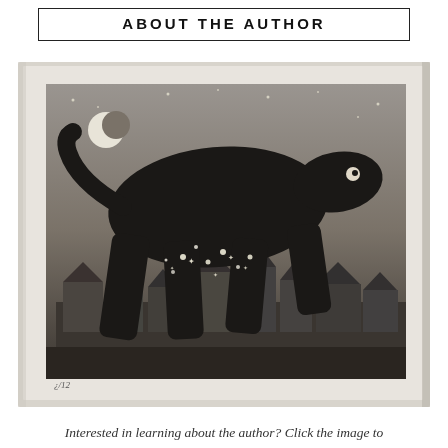ABOUT THE AUTHOR
[Figure (illustration): A dark etching-style illustration showing a large black bear-like creature striding over a small town at night, with a crescent moon in the upper left corner. The image has a textured, aged paper border and sparkle/glitter effects on the creature. A small number '¿/12' appears at the bottom left of the image.]
Interested in learning about the author? Click the image to